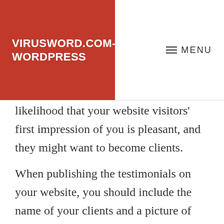VIRUSWORD.COM-WORDPRESS
≡ MENU
likelihood that your website visitors' first impression of you is pleasant, and they might want to become clients.
When publishing the testimonials on your website, you should include the name of your clients and a picture of them, if possible.
21. Get certified in a new area